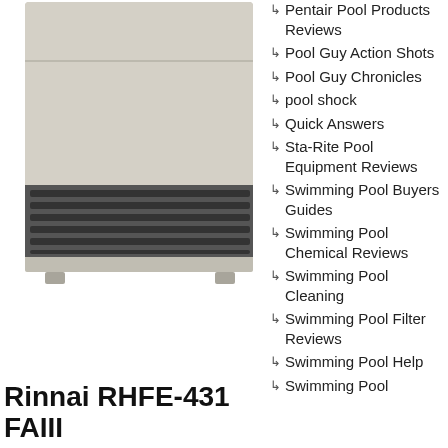[Figure (photo): Photo of a Rinnai RHFE-431 FAIII wall heater unit, beige/silver colored with horizontal vents at the bottom.]
Rinnai RHFE-431 FAIII
Pentair Pool Products Reviews
Pool Guy Action Shots
Pool Guy Chronicles
pool shock
Quick Answers
Sta-Rite Pool Equipment Reviews
Swimming Pool Buyers Guides
Swimming Pool Chemical Reviews
Swimming Pool Cleaning
Swimming Pool Filter Reviews
Swimming Pool Help
Swimming Pool